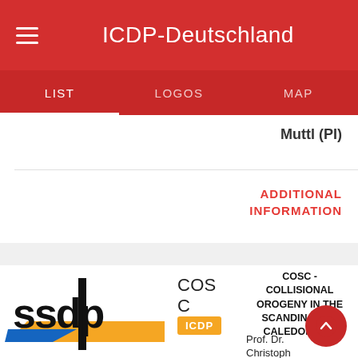ICDP-Deutschland
LIST  LOGOS  MAP
Muttl (PI)
ADDITIONAL INFORMATION
[Figure (logo): SSDP logo with black text and blue/yellow swoosh graphic]
COSC C
ICDP
COSC - COLLISIONAL OROGENY IN THE SCANDINAVIAN CALEDONIDES
Prof. Dr. Christoph Pascal (PI)